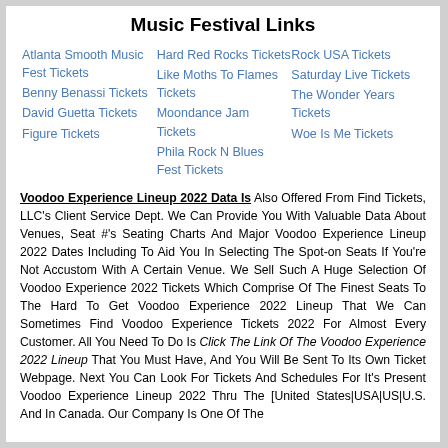Music Festival Links
Atlanta Smooth Music Fest Tickets
Benny Benassi Tickets
David Guetta Tickets
Figure Tickets
Hard Red Rocks Tickets
Like Moths To Flames Tickets
Moondance Jam Tickets
Phila Rock N Blues Fest Tickets
Rock USA Tickets
Saturday Live Tickets
The Wonder Years Tickets
Woe Is Me Tickets
Voodoo Experience Lineup 2022 Data Is Also Offered From Find Tickets, LLC’s Client Service Dept. We Can Provide You With Valuable Data About Venues, Seat #’s Seating Charts And Major Voodoo Experience Lineup 2022 Dates Including To Aid You In Selecting The Spot-on Seats If You’re Not Accustom With A Certain Venue. We Sell Such A Huge Selection Of Voodoo Experience 2022 Tickets Which Comprise Of The Finest Seats To The Hard To Get Voodoo Experience 2022 Lineup That We Can Sometimes Find Voodoo Experience Tickets 2022 For Almost Every Customer. All You Need To Do Is Click The Link Of The Voodoo Experience 2022 Lineup That You Must Have, And You Will Be Sent To Its Own Ticket Webpage. Next You Can Look For Tickets And Schedules For It’s Present Voodoo Experience Lineup 2022 Thru The [United States|USA|US|U.S. And In Canada. Our Company Is One Of The